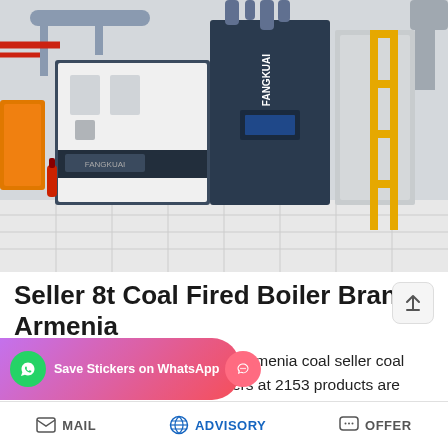[Figure (photo): Industrial boiler room with large blue and white coal-fired boiler units (branded FANGKUAI), pipes, fire extinguisher, and yellow safety railing on tiled floor]
Seller 8t Coal Fired Boiler Brand Armenia
Seller 8t Coal Fired Boiler Brand Armenia coal seller coal seller Suppliers and Manufacturers at 2153 products are ... suppliers on Alibabacom of which ...3% accounts for 1% A wide variet…